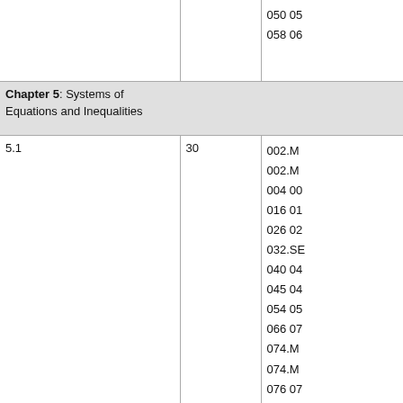|  |  |  |
| --- | --- | --- |
|  |  | 050 05
058 06 |
| Chapter 5: Systems of Equations and Inequalities |  |  |
| 5.1 | 30 | 002.M
002.M
004 00
016 01
026 02
032.SE
040 04
045 04
054 05
066 07
074.M
074.M
076 07 |
|  |  |  |